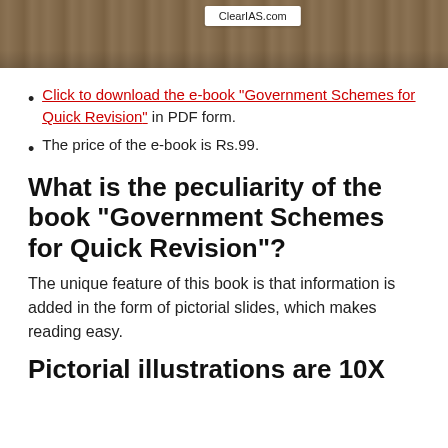[Figure (photo): Top portion of a photo showing a tablet/ebook reader on a wooden surface with ClearIAS.com label visible]
Click to download the e-book "Government Schemes for Quick Revision" in PDF form.
The price of the e-book is Rs.99.
What is the peculiarity of the book “Government Schemes for Quick Revision”?
The unique feature of this book is that information is added in the form of pictorial slides, which makes reading easy.
Pictorial illustrations are 10X